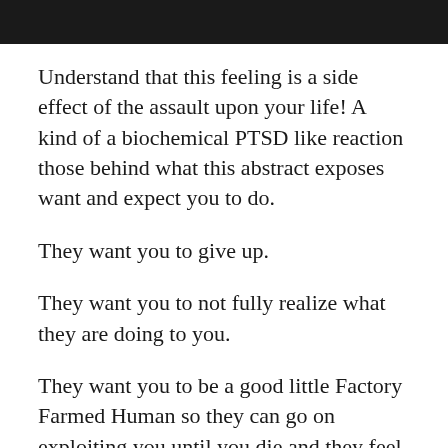[Figure (photo): Dark photograph partially visible at the top of the page]
Understand that this feeling is a side effect of the assault upon your life! A kind of a biochemical PTSD like reaction those behind what this abstract exposes want and expect you to do.
They want you to give up.
They want you to not fully realize what they are doing to you.
They want you to be a good little Factory Farmed Human so they can go on exploiting you until you die and they feel they've extracted all that was useful to them out of